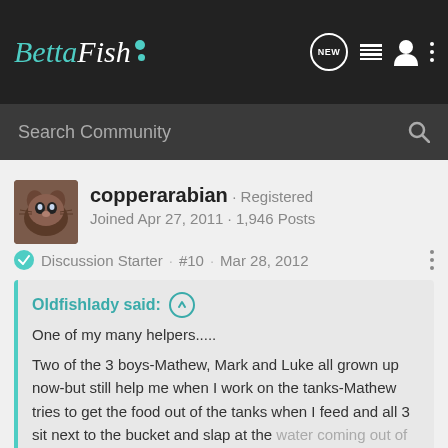Betta Fish
Search Community
[Figure (photo): User avatar for copperarabian showing a cat-like animal]
copperarabian · Registered
Joined Apr 27, 2011 · 1,946 Posts
Discussion Starter · #10 · Mar 28, 2012
Oldfishlady said: ↑

One of my many helpers.....

Two of the 3 boys-Mathew, Mark and Luke all grown up now-but still help me when I work on the tanks-Mathew tries to get the food out of the tanks when I feed and all 3 sit next to the bucket and slap at the water coming out of the siphon and drink the water and for what ever reason they like to stand on the edges of the buckets and if they are

Click to expand...